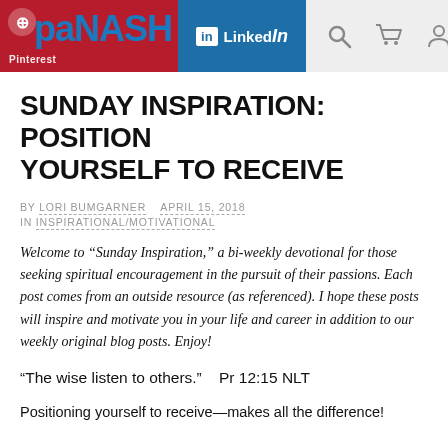paNASH | Pinterest | LinkedIn
SUNDAY INSPIRATION: POSITION YOURSELF TO RECEIVE
BY LORI BUMGARNER   APRIL 15, 2018
IN INSPIRATIONAL/MOTIVATIONAL
Welcome to “Sunday Inspiration,” a bi-weekly devotional for those seeking spiritual encouragement in the pursuit of their passions. Each post comes from an outside resource (as referenced). I hope these posts will inspire and motivate you in your life and career in addition to our weekly original blog posts. Enjoy!
“The wise listen to others.”   Pr 12:15 NLT
Positioning yourself to receive—makes all the difference!